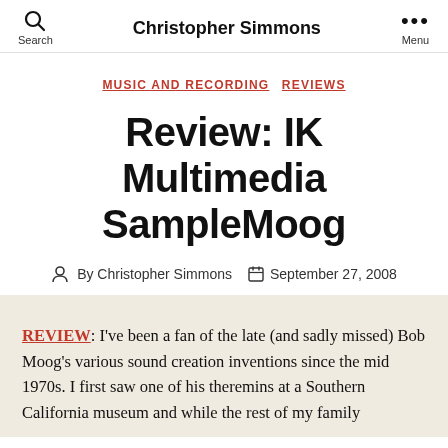Christopher Simmons
MUSIC AND RECORDING   REVIEWS
Review: IK Multimedia SampleMoog
By Christopher Simmons   September 27, 2008
REVIEW: I've been a fan of the late (and sadly missed) Bob Moog's various sound creation inventions since the mid 1970s. I first saw one of his theremins at a Southern California museum and while the rest of my family